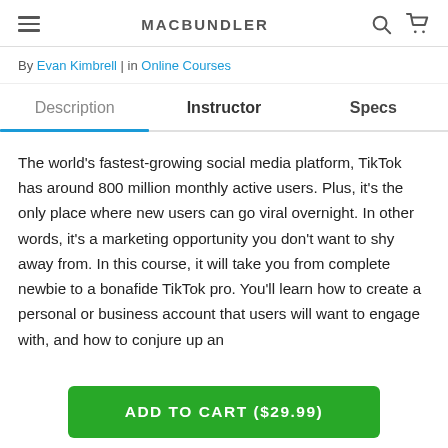MACBUNDLER
By Evan Kimbrell | in Online Courses
Description | Instructor | Specs
The world's fastest-growing social media platform, TikTok has around 800 million monthly active users. Plus, it's the only place where new users can go viral overnight. In other words, it's a marketing opportunity you don't want to shy away from. In this course, it will take you from complete newbie to a bonafide TikTok pro. You'll learn how to create a personal or business account that users will want to engage with, and how to conjure up an
ADD TO CART ($29.99)